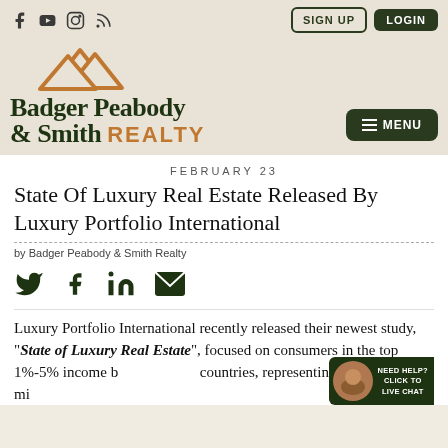Social icons | SIGN UP | LOGIN
[Figure (logo): Badger Peabody & Smith Realty logo with mountain icon and MENU button]
FEBRUARY 23
State Of Luxury Real Estate Released By Luxury Portfolio International
by Badger Peabody & Smith Realty
[Figure (infographic): Social share icons: Twitter, Facebook, LinkedIn, Email]
Luxury Portfolio International recently released their newest study, "State of Luxury Real Estate", focused on consumers in the top 1%-5% income b[racket across] countries, representing more than 30 mi[llion]